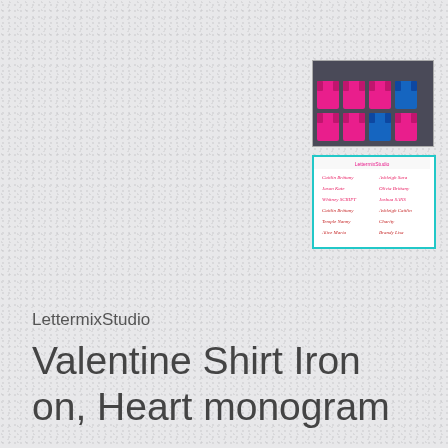[Figure (photo): Thumbnail photo showing multiple colored t-shirts (pink, purple, blue) arranged on a surface]
[Figure (illustration): Thumbnail showing a font/script selection chart with various handwritten-style names in pink/red on white background with teal border]
LettermixStudio
Valentine Shirt Iron on, Heart monogram
$5.25
Design Size
| 4 inch |  |